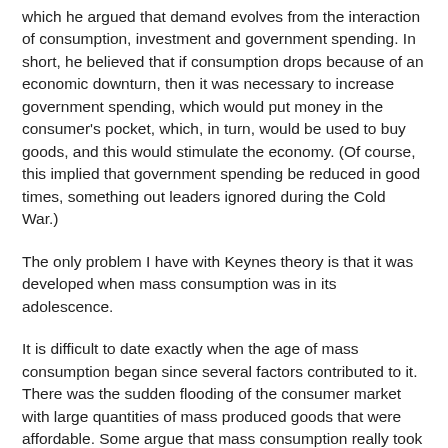which he argued that demand evolves from the interaction of consumption, investment and government spending. In short, he believed that if consumption drops because of an economic downturn, then it was necessary to increase government spending, which would put money in the consumer's pocket, which, in turn, would be used to buy goods, and this would stimulate the economy. (Of course, this implied that government spending be reduced in good times, something out leaders ignored during the Cold War.)
The only problem I have with Keynes theory is that it was developed when mass consumption was in its adolescence.
It is difficult to date exactly when the age of mass consumption began since several factors contributed to it. There was the sudden flooding of the consumer market with large quantities of mass produced goods that were affordable. Some argue that mass consumption really took off in the 1890s with the growth of corporate bureaucracies and the increased pay for white collar workers.
If we accept 1890 as an arbitrary start date, then Keynes